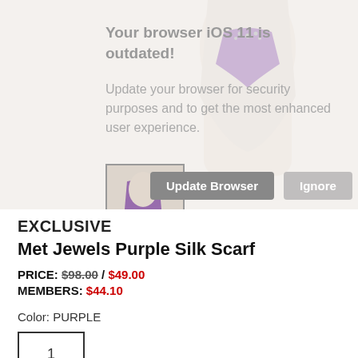[Figure (photo): Product page screenshot showing a browser outdated warning overlay on top of a mannequin wearing a purple silk scarf. The overlay shows 'Your browser iOS 11 is outdated!' message with Update Browser and Ignore buttons. A thumbnail of the product is visible in bottom left of the overlay area.]
Your browser iOS 11 is outdated!
Update your browser for security purposes and to get the most enhanced user experience.
EXCLUSIVE
Met Jewels Purple Silk Scarf
PRICE: $98.00 / $49.00
MEMBERS: $44.10
Color: PURPLE
1